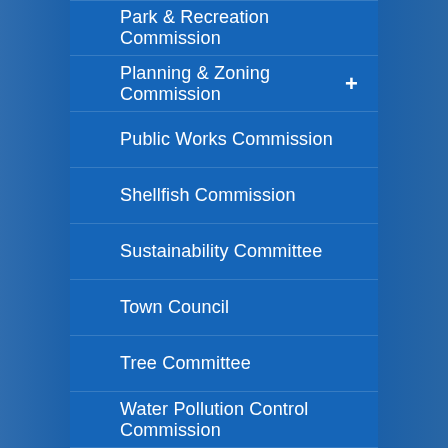Park & Recreation Commission
Planning & Zoning Commission
Public Works Commission
Shellfish Commission
Sustainability Committee
Town Council
Tree Committee
Water Pollution Control Commission